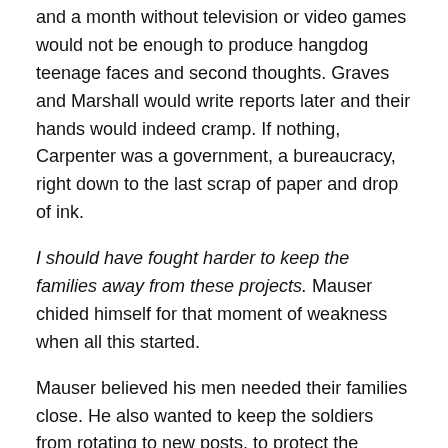and a month without television or video games would not be enough to produce hangdog teenage faces and second thoughts. Graves and Marshall would write reports later and their hands would indeed cramp. If nothing, Carpenter was a government, a bureaucracy, right down to the last scrap of paper and drop of ink.
I should have fought harder to keep the families away from these projects. Mauser chided himself for that moment of weakness when all this started.
Mauser believed his men needed their families close. He also wanted to keep the soldiers from rotating to new posts, to protect the integrity of the confidential operation and to hide the project in plain sight. For those reasons he allowed Carpenter to grow around a town, for the civilians and military to merge into a cohesive unit. Mistake number